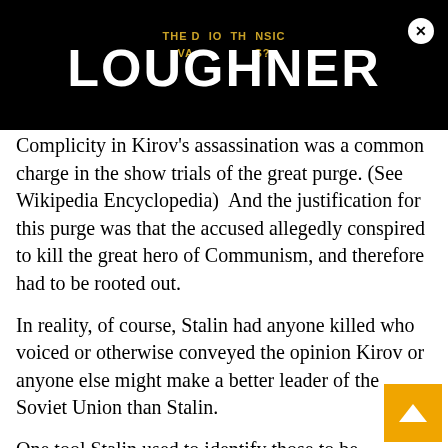THE DO IO THE NSIC VAL S? LOUGHNER
Complicity in Kirov's assassination was a common charge in the show trials of the great purge. (See Wikipedia Encyclopedia)  And the justification for this purge was that the accused allegedly conspired to kill the great hero of Communism, and therefore had to be rooted out.
In reality, of course, Stalin had anyone killed who voiced or otherwise conveyed the opinion Kirov or anyone else might make a better leader of the Soviet Union than Stalin.
One tool Stalin used to identify those to be eliminated, was the tap he had on everybody's